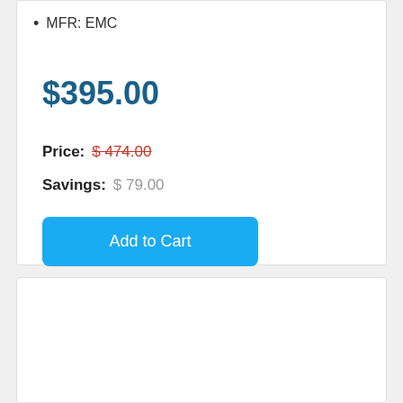MFR: EMC
$395.00
Price:  $ 474.00
Savings:  $ 79.00
Add to Cart